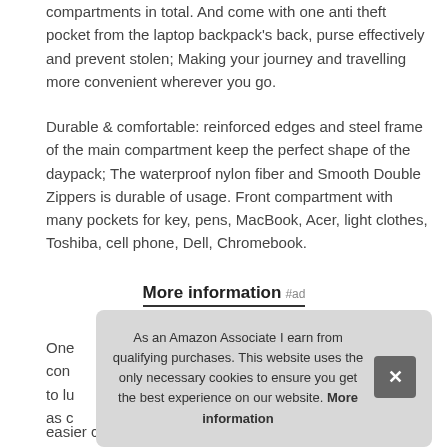compartments in total. And come with one anti theft pocket from the laptop backpack's back, purse effectively and prevent stolen; Making your journey and travelling more convenient wherever you go.
Durable & comfortable: reinforced edges and steel frame of the main compartment keep the perfect shape of the daypack; The waterproof nylon fiber and Smooth Double Zippers is durable of usage. Front compartment with many pockets for key, pens, MacBook, Acer, light clothes, Toshiba, cell phone, Dell, Chromebook.
More information #ad
One [partial] con[partial] to lu[partial] as c[partial] easier carrying.
As an Amazon Associate I earn from qualifying purchases. This website uses the only necessary cookies to ensure you get the best experience on our website. More information